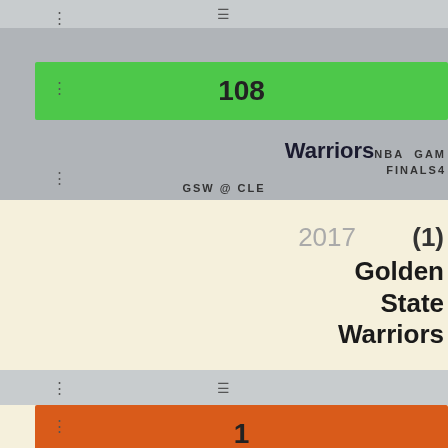≡
108
Warriors NBA GAME FINALS 4
GSW @ CLE
2017  (1) Golden State Warriors
4
≡
1